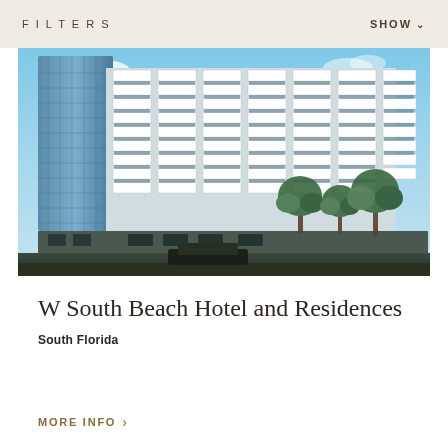FILTERS    SHOW
[Figure (photo): Exterior photograph of W South Beach Hotel and Residences — a modern high-rise with white stepped balconies and blue glass panels, palm trees and street level visible at base, blue sky background]
W South Beach Hotel and Residences
South Florida
MORE INFO >